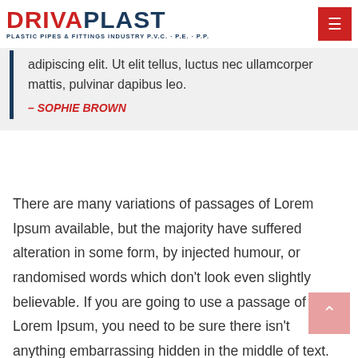DRIVAPLAST — PLASTIC PIPES & FITTINGS INDUSTRY P.V.C. · P.E. · P.P.
adipiscing elit. Ut elit tellus, luctus nec ullamcorper mattis, pulvinar dapibus leo.
– SOPHIE BROWN
There are many variations of passages of Lorem Ipsum available, but the majority have suffered alteration in some form, by injected humour, or randomised words which don't look even slightly believable. If you are going to use a passage of Lorem Ipsum, you need to be sure there isn't anything embarrassing hidden in the middle of text.